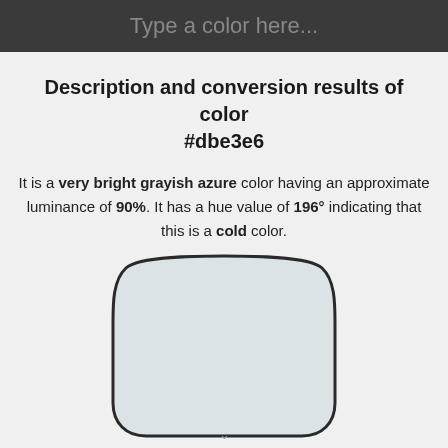Type a color here...
Description and conversion results of color #dbe3e6
It is a very bright grayish azure color having an approximate luminance of 90%. It has a hue value of 196° indicating that this is a cold color.
[Figure (illustration): A pentagon-like rounded shape filled with color #dbe3e6 (very light grayish azure/blue), outlined with a dark border, representing the color sample.]